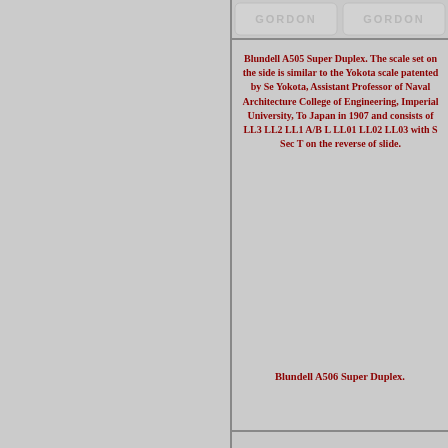[Figure (other): Tiled GORDON watermark background covering the entire page with repeating embossed-style logo pattern on grey background]
Blundell A505 Super Duplex. The scale set on the side is similar to the Yokota scale patented by Se Yokota, Assistant Professor of Naval Architecture College of Engineering, Imperial University, To Japan in 1907 and consists of LL3 LL2 LL1 A/B L LL01 LL02 LL03 with S Sec T on the reverse of slide.
Blundell A506 Super Duplex.